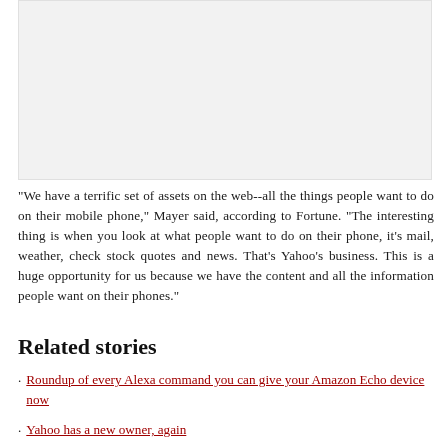[Figure (other): Gray placeholder image area at top of page]
"We have a terrific set of assets on the web--all the things people want to do on their mobile phone," Mayer said, according to Fortune. "The interesting thing is when you look at what people want to do on their phone, it's mail, weather, check stock quotes and news. That's Yahoo's business. This is a huge opportunity for us because we have the content and all the information people want on their phones."
Related stories
Roundup of every Alexa command you can give your Amazon Echo device now
Yahoo has a new owner, again